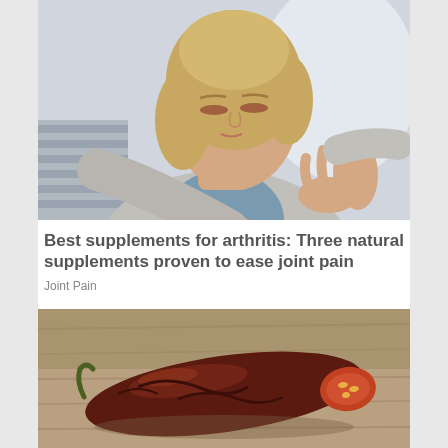[Figure (photo): A blonde woman in a grey cardigan and blue top sits on a striped pillow, eyes downcast, holding her wrist/forearm with her other hand suggesting joint pain.]
Best supplements for arthritis: Three natural supplements proven to ease joint pain
Joint Pain
[Figure (photo): Close-up of a dark reddish-brown dried chili pepper on a wooden surface, partially cut open showing seeds inside.]